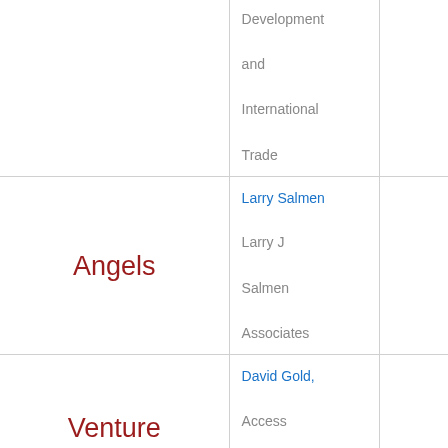| Category | Contact |  |
| --- | --- | --- |
|  | Development and International Trade |  |
| Angels | Larry Salmen, Larry J Salmen Associates |  |
| Venture Capital | David Gold, Access Venture Partners |  |
| Micro Lenders | Lewis Hagler, Colorado Enterprise Fund |  |